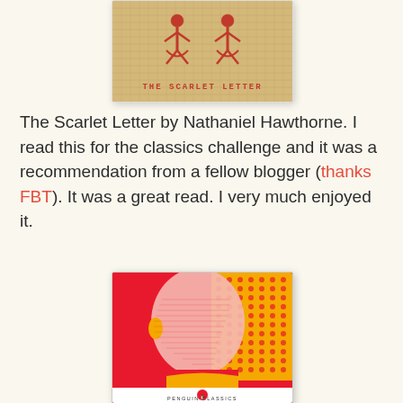[Figure (photo): Book cover of The Scarlet Letter — burlap textured background in tan/beige with red embroidered letter A figures and red text 'THE SCARLET LETTER' at the bottom]
The Scarlet Letter by Nathaniel Hawthorne. I read this for the classics challenge and it was a recommendation from a fellow blogger (thanks FBT). It was a great read. I very much enjoyed it.
[Figure (photo): Book cover of a Penguin Classics edition — bold red and yellow graphic design showing a side profile of a person's head with halftone dot pattern details. 'PENGUIN CLASSICS' text at the bottom with Penguin logo.]